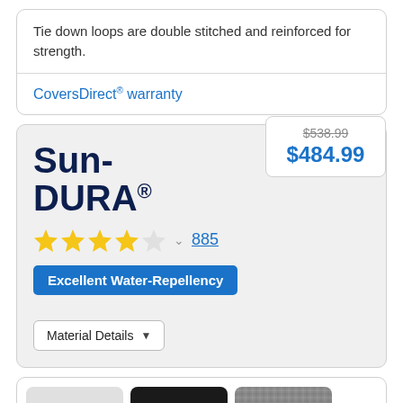Tie down loops are double stitched and reinforced for strength.
CoversDirect® warranty
Sun-DURA®
$538.99 (original price), $484.99 (sale price)
4 out of 5 stars, 885 reviews
Excellent Water-Repellency
Material Details
[Figure (photo): Three material swatches: light gray, dark/black, and textured gray, each with a white circle grommet]